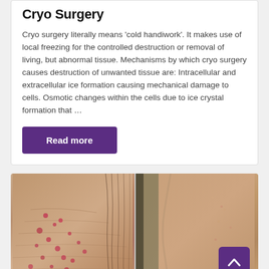Cryo Surgery
Cryo surgery literally means ‘cold handiwork’. It makes use of local freezing for the controlled destruction or removal of living, but abnormal tissue. Mechanisms by which cryo surgery causes destruction of unwanted tissue are: Intracellular and extracellular ice formation causing mechanical damage to cells. Osmotic changes within the cells due to ice crystal formation that …
Read more
[Figure (photo): Before and after comparison photo showing a person’s face with acne/redness on the left side and clearer skin on the right side after cryo surgery treatment. A back-to-top arrow button appears in the bottom right corner.]